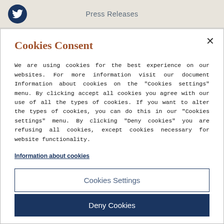Press Releases
Cookies Consent
We are using cookies for the best experience on our websites. For more information visit our document Information about cookies on the "Cookies settings" menu. By clicking accept all cookies you agree with our use of all the types of cookies. If you want to alter the types of cookies, you can do this in our "Cookies settings" menu. By clicking "Deny cookies" you are refusing all cookies, except cookies necessary for website functionality.
Information about cookies
Cookies Settings
Deny Cookies